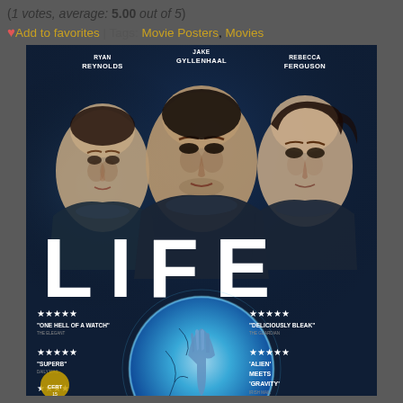(1 votes, average: 5.00 out of 5)
♥ Add to favorites | Tags: Movie Posters, Movies
[Figure (photo): Movie poster for 'LIFE' featuring Ryan Reynolds, Jake Gyllenhaal, and Rebecca Ferguson in astronaut suits. Large white 'LIFE' title text in center. Bottom shows a glowing blue globe/orb with a hand inside. Multiple 5-star review quotes: 'ONE HELL OF A WATCH', 'DELICIOUSLY BLEAK', 'SUPERB', 'ALIEN MEETS GRAVITY'.]